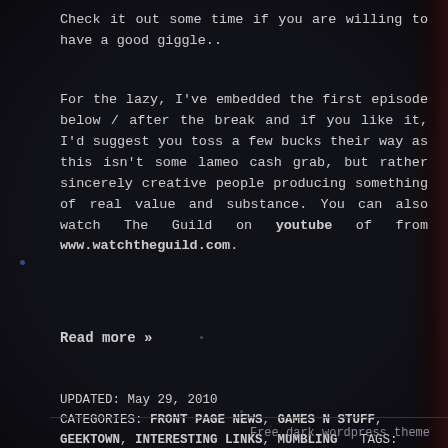Check it out some time if you are willing to have a good giggle..
For the lazy, I've embedded the first episode below / after the break and if you like it, I'd suggest you toss a few bucks their way as this isn't some lameo cash grab, but rather sincerely creative people producing something of real value and substance. You can also watch The Guild on youtube of from www.watchtheguild.com.
Read more »
UPDATED: May 29, 2010
CATEGORIES: FRONT PAGE NEWS, GAMES N STUFF, GEEKTOWN, INTERESTING LINKS, MUMBLING   TAGS: AWESOME, DVD, FELICIA DAY, OPEN, THE GUILD, VALUE, WORLD OF WARCRAFT
Free dark wordpress theme